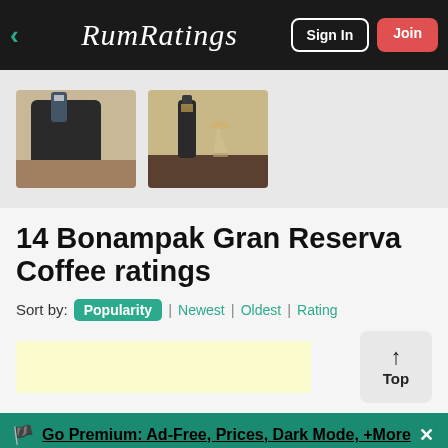RumRatings — Sign In | Join
[Figure (photo): Two photos of rum bottles: left photo shows a black cylindrical container with a rum bottle on top; right photo shows a rum bottle next to a glass of rum on a surface.]
14 Bonampak Gran Reserva Coffee ratings
Sort by: Popularity | Newest | Oldest | Rating
[Figure (other): Light yellow advertisement placeholder area]
Go Premium: Ad-Free, Prices, Dark Mode, +More
Rum | Discuss | Search | Stream